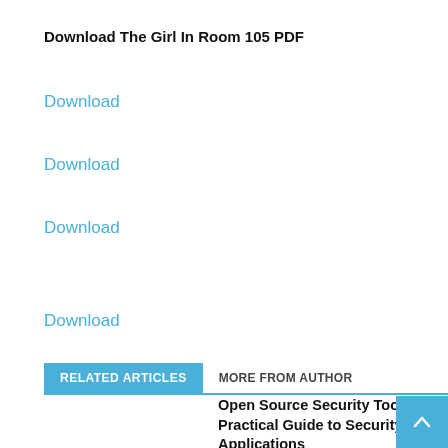Download The Girl In Room 105 PDF
Download
Download
Download
Download
RELATED ARTICLES	MORE FROM AUTHOR
Open Source Security Tools: A Practical Guide to Security Applications